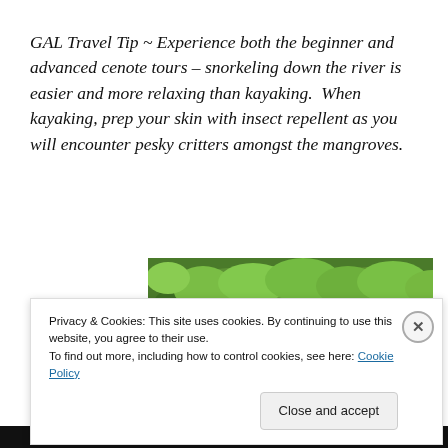GAL Travel Tip ~ Experience both the beginner and advanced cenote tours – snorkeling down the river is easier and more relaxing than kayaking.  When kayaking, prep your skin with insect repellent as you will encounter pesky critters amongst the mangroves.
[Figure (photo): Photo of green mangrove trees/jungle canopy from below, lush green foliage]
Privacy & Cookies: This site uses cookies. By continuing to use this website, you agree to their use.
To find out more, including how to control cookies, see here: Cookie Policy
Close and accept